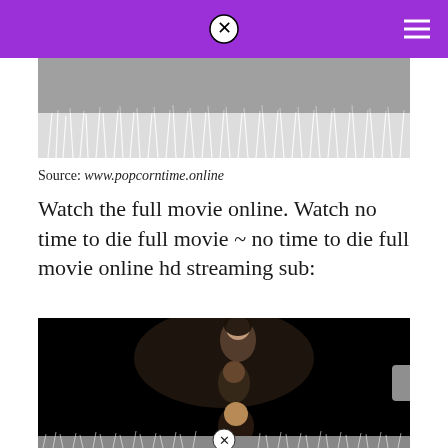[Figure (photo): Top portion of a movie promotional image showing frost-covered grass or winter foliage in black and white tones]
Source: www.popcorntime.online
Watch the full movie online. Watch no time to die full movie ~ no time to die full movie online hd streaming sub:
[Figure (photo): Movie promotional image with black background showing three people overlaid: a woman at top, a man in the middle, and a man at the bottom, with frost/grass at the bottom edge and a close button overlay]